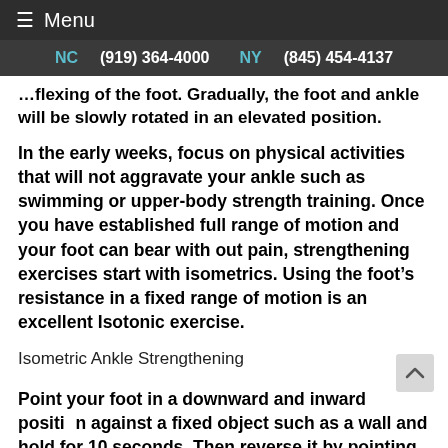≡ Menu
NC (919) 364-4000   NY (845) 454-4137
…flexing of the foot. Gradually, the foot and ankle will be slowly rotated in an elevated position.
In the early weeks, focus on physical activities that will not aggravate your ankle such as swimming or upper-body strength training. Once you have established full range of motion and your foot can bear with out pain, strengthening exercises start with isometrics. Using the foot's resistance in a fixed range of motion is an excellent Isotonic exercise.
Isometric Ankle Strengthening
Point your foot in a downward and inward position against a fixed object such as a wall and hold for 10 seconds. Then reverse it by pointing your foot in an…